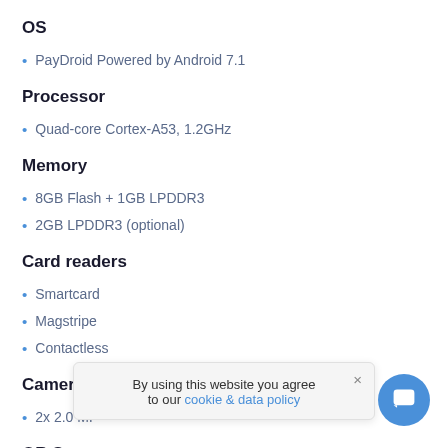OS
PayDroid Powered by Android 7.1
Processor
Quad-core Cortex-A53, 1.2GHz
Memory
8GB Flash + 1GB LPDDR3
2GB LPDDR3 (optional)
Card readers
Smartcard
Magstripe
Contactless
Camera
2x 2.0 MP
QR Scanner
0.3 MP
By using this website you agree to our cookie & data policy